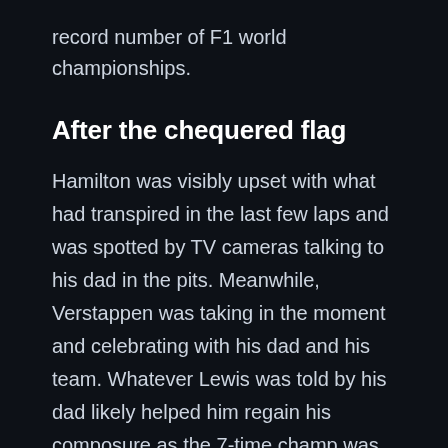record number of F1 world championships.
After the chequered flag
Hamilton was visibly upset with what had transpired in the last few laps and was spotted by TV cameras talking to his dad in the pits. Meanwhile, Verstappen was taking in the moment and celebrating with his dad and his team. Whatever Lewis was told by his dad likely helped him regain his composure as the 7-time champ was then seeing congratulating the new World Champion. It was a good show of sportsmanship, especially from Lewis, after a long and vicious rivalry through the season